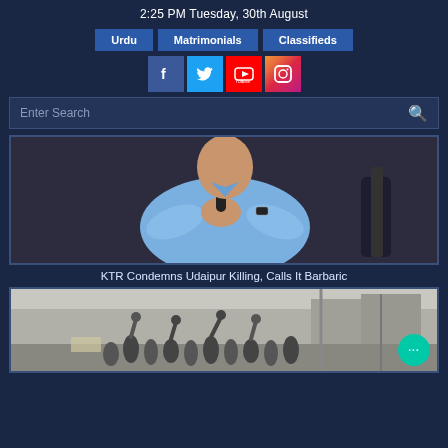2:25 PM Tuesday, 30th August
Urdu | Matrimonials | Classifieds
[Figure (screenshot): Social media icons: Facebook, Twitter, YouTube, Instagram]
[Figure (screenshot): Search bar with Enter Search placeholder and magnifying glass icon]
[Figure (photo): Man in blue shirt holding a microphone, seated, dark background]
KTR Condemns Udaipur Killing, Calls It Barbaric
[Figure (photo): Crowd of people in a street with raised hands, protest scene, with chat bubble icon overlay]